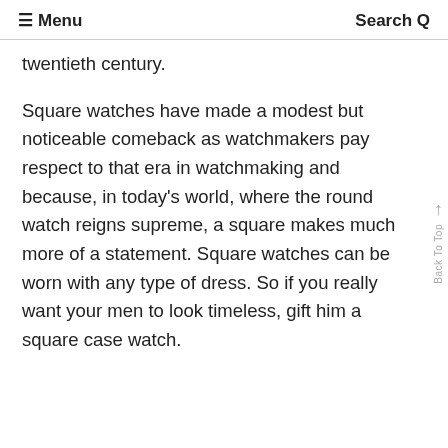≡ Menu   Search Q
twentieth century.
Square watches have made a modest but noticeable comeback as watchmakers pay respect to that era in watchmaking and because, in today's world, where the round watch reigns supreme, a square makes much more of a statement. Square watches can be worn with any type of dress. So if you really want your men to look timeless, gift him a square case watch.